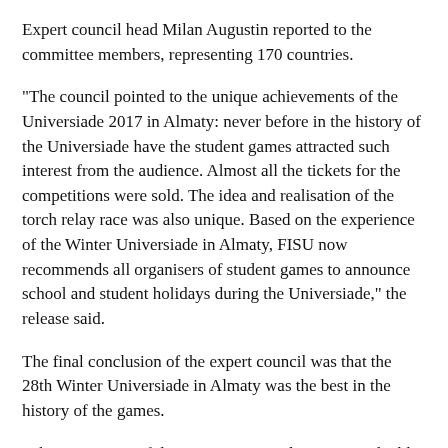Expert council head Milan Augustin reported to the committee members, representing 170 countries.
“The council pointed to the unique achievements of the Universiade 2017 in Almaty: never before in the history of the Universiade have the student games attracted such interest from the audience. Almost all the tickets for the competitions were sold. The idea and realisation of the torch relay race was also unique. Based on the experience of the Winter Universiade in Almaty, FISU now recommends all organisers of student games to announce school and student holidays during the Universiade,” the release said.
The final conclusion of the expert council was that the 28th Winter Universiade in Almaty was the best in the history of the games.
“The experience of the past games in Almaty is invaluable, FISU intends to continue to cooperate with Kazakhstan in all possible directions,” FISU President Oleg Matytsin said.
Directorate Manager of the 28th Winter Universiade Nail Nurov awarded Matytsin a certificate for the completion of the games.
The Almaty 2017 Winter Universiade, held between Jan. 29 and Feb.